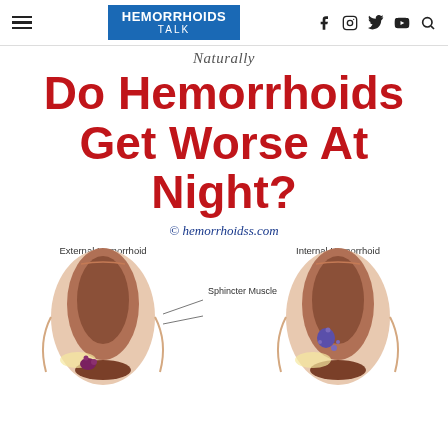HEMORRHOIDS TALK
Naturally
Do Hemorrhoids Get Worse At Night?
© hemorrhoidss.com
[Figure (illustration): Medical illustration showing two anatomical cross-sections side by side: left labeled 'External Hemorrhoid' showing external hemorrhoid at base of anal canal, right labeled 'Internal Hemorrhoid' showing internal hemorrhoid inside anal canal. Both diagrams show the sphincter muscle with a label 'Sphincter Muscle' pointing to the area.]